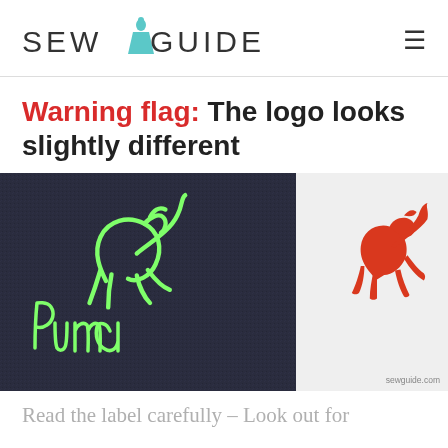SEWGUIDE
Warning flag: The logo looks slightly different
[Figure (photo): Two Puma logos side by side: left image shows a fake/counterfeit Puma logo embroidered in green thread on dark navy fabric with cursive Puma text; right image shows the authentic Puma leaping cat logo in red on white fabric. Watermark: sewguide.com]
Read the label carefully – Look out for